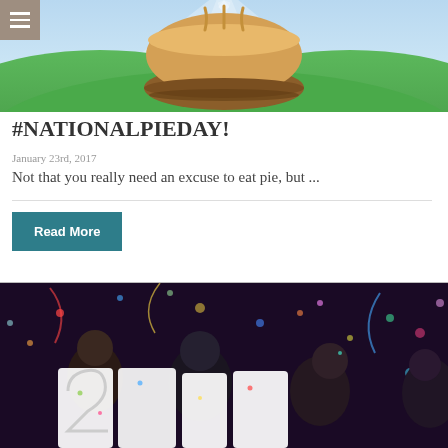[Figure (illustration): Pie emoji illustration over green hills and blue sky background, with a hamburger menu icon in the top-left corner]
#NATIONALPIEDAY!
January 23rd, 2017
Not that you really need an excuse to eat pie, but ...
Read More
[Figure (photo): People at a New Year's Eve party holding large white cutout numbers spelling 2017, with confetti and festive lights in the background]